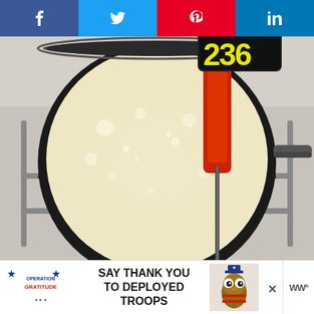[Figure (other): Social media share bar with Facebook (blue), Twitter (light blue), Pinterest (red), and LinkedIn (blue) buttons with icons]
[Figure (photo): A red digital instant-read thermometer inserted into a bubbling white/cream colored liquid (sugar syrup or candy mixture) in a dark saucepan on a stove. The thermometer display shows 236 degrees.]
[Figure (other): Advertisement banner: Operation Gratitude logo on left, text 'SAY THANK YOU TO DEPLOYED TROOPS' in center, cartoon owl mascot on right, close X button, and WW logo]